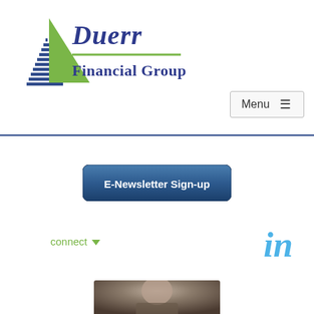[Figure (logo): Duerr Financial Group logo with stylized sail/triangle graphic in green and blue, company name in dark blue]
Menu ≡
[Figure (other): E-Newsletter Sign-up button, dark blue rounded rectangle]
connect ▾
[Figure (logo): LinkedIn 'in' icon in light blue]
[Figure (photo): Partial photo of a person at bottom of page]